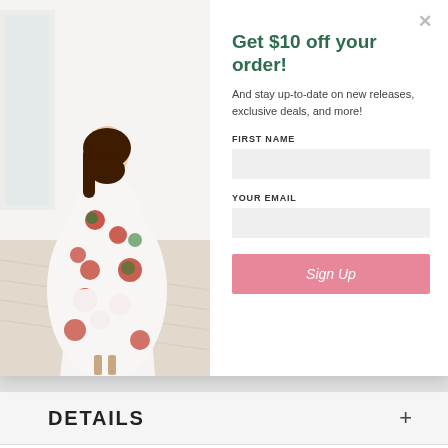[Figure (photo): Woman wearing a white floral midi wrap dress with red flowers, posing in a bright room with light wood flooring]
Get $10 off your order!
And stay up-to-date on new releases, exclusive deals, and more!
FIRST NAME
YOUR EMAIL
Sign Up
DETAILS
SIZING & FIT